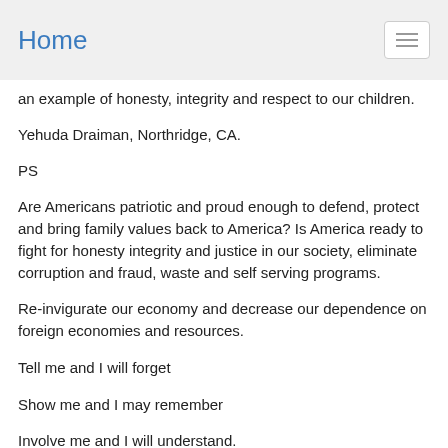Home
an example of honesty, integrity and respect to our children.
Yehuda Draiman, Northridge, CA.
PS
Are Americans patriotic and proud enough to defend, protect and bring family values back to America? Is America ready to fight for honesty integrity and justice in our society, eliminate corruption and fraud, waste and self serving programs.
Re-invigurate our economy and decrease our dependence on foreign economies and resources.
Tell me and I will forget
Show me and I may remember
Involve me and I will understand.
© Chinese Proverb.
Protecting Family Values
The family is the most basic unit of any